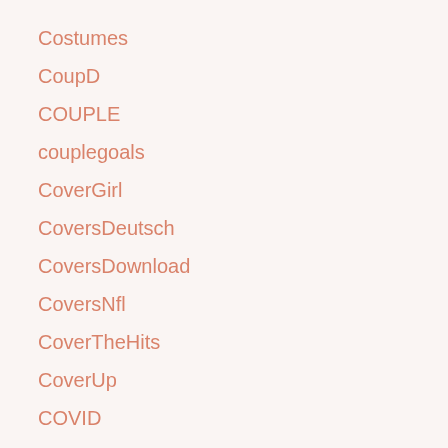Costumes
CoupD
COUPLE
couplegoals
CoverGirl
CoversDeutsch
CoversDownload
CoversNfl
CoverTheHits
CoverUp
COVID
CozySweaterForChillyFallWeather
Craft
Crafting